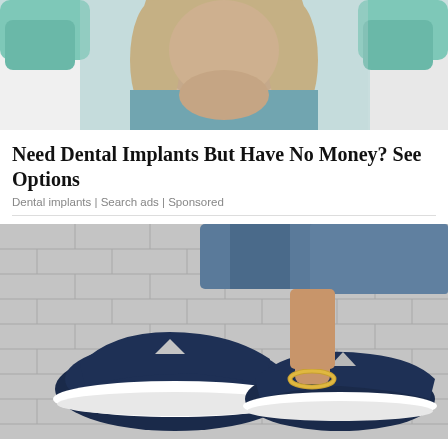[Figure (photo): Medical professional in green gloves holding a patient's face/jaw area, dental examination context]
Need Dental Implants But Have No Money? See Options
Dental implants | Search ads | Sponsored
[Figure (photo): Navy blue women's slip-on sneakers with cutout detail and white platform sole, displayed against a grey brick wall background with jeans-clad legs]
Best Sneakers For Women To Ensure